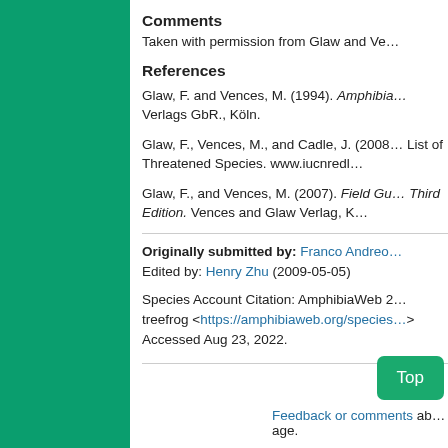Comments
Taken with permission from Glaw and Ve…
References
Glaw, F. and Vences, M. (1994). Amphibia… Verlags GbR., Köln.
Glaw, F., Vences, M., and Cadle, J. (2008… List of Threatened Species. www.iucnredl…
Glaw, F., and Vences, M. (2007). Field Gu… Third Edition. Vences and Glaw Verlag, K…
Originally submitted by: Franco Andreo… Edited by: Henry Zhu (2009-05-05)
Species Account Citation: AmphibiaWeb 2… treefrog <https://amphibiaweb.org/species… Accessed Aug 23, 2022.
Feedback or comments ab… age.